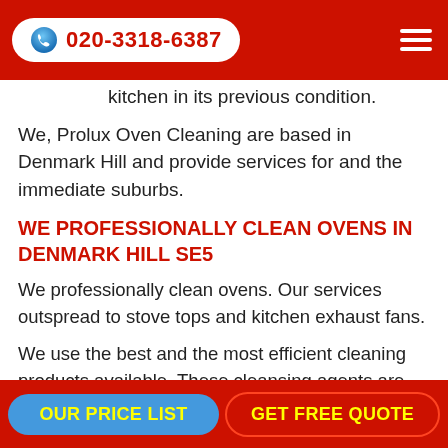020-3318-6387
kitchen in its previous condition.
We, Prolux Oven Cleaning are based in Denmark Hill and provide services for and the immediate suburbs.
WE PROFESSIONALLY CLEAN OVENS IN DENMARK HILL SE5
We professionally clean ovens. Our services outspread to stove tops and kitchen exhaust fans.
We use the best and the most efficient cleaning products available. These cleansing agents are completely harmless for your home and your household. They are non-toxic, non-caustic, fume and odor free.
We, Prolux Oven Cleaning Denmark Hill SE5, take pride of
OUR PRICE LIST   GET FREE QUOTE